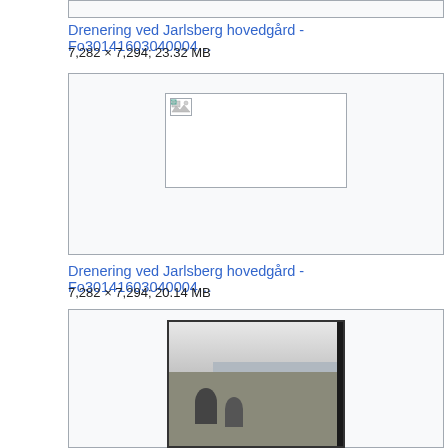[Figure (screenshot): Top cropped thumbnail box, mostly empty gray area]
Drenering ved Jarlsberg hovedgård - Fo30141603040004...
7,282 × 7,294; 23.32 MB
[Figure (screenshot): White thumbnail box with broken image icon in the center]
Drenering ved Jarlsberg hovedgård - Fo30141603040004...
7,282 × 7,294; 20.14 MB
[Figure (photo): Black and white photograph showing two people standing on rocky terrain near a body of water with a distant landscape in the background]